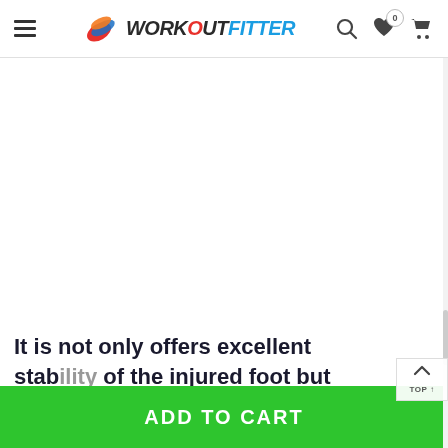WORKOUTFITTER
It is not only offers excellent stability of the injured foot but also serves comfortable Ankle Support
ADD TO CART